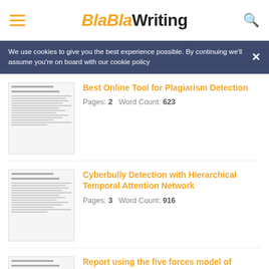BlaBlaWriting
We use cookies to give you the best experience possible. By continuing we'll assume you're on board with our cookie policy
Best Online Tool for Plagiarism Detection
Pages: 2   Word Count: 623
Cyberbully Detection with Hierarchical Temporal Attention Network
Pages: 3   Word Count: 916
Report using the five forces model of Ceasars Entertainment
Pages: 6   Word Count: 1730
A Review on Medical Diagnostic